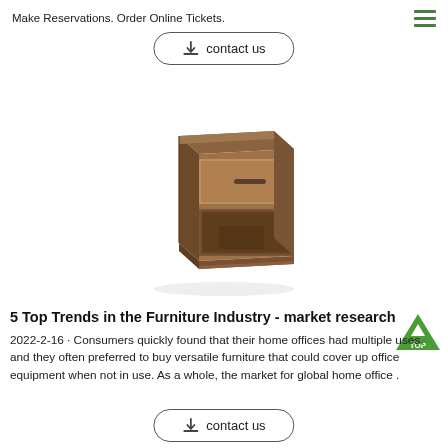Make Reservations. Order Online Tickets.
contact us
[Figure (photo): A walnut-finish wooden bedside table/nightstand with one drawer and one open shelf compartment, photographed on a white background.]
5 Top Trends in the Furniture Industry - market research
2022-2-16 · Consumers quickly found that their home offices had multiple uses, and they often preferred to buy versatile furniture that could cover up office equipment when not in use. As a whole, the market for global home office .
contact us